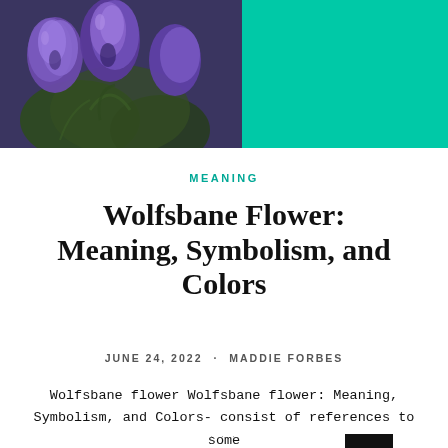[Figure (photo): Left portion: close-up photograph of purple/violet wolfsbane flowers with green leaves. Right portion: solid teal/mint green rectangle forming a split header banner.]
MEANING
Wolfsbane Flower: Meaning, Symbolism, and Colors
JUNE 24, 2022 · MADDIE FORBES
Wolfsbane flower Wolfsbane flower: Meaning, Symbolism, and Colors- consist of references to some of the most interesting stories about p[...] and flowers. The Wolfsbane flower blooms [...]e